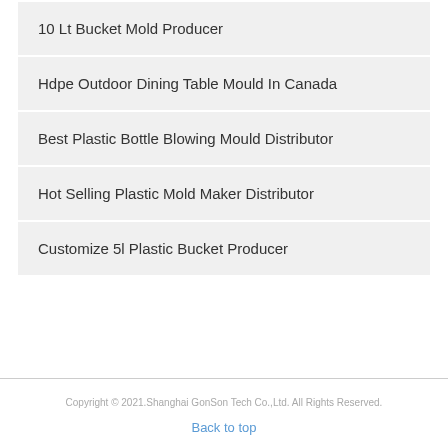10 Lt Bucket Mold Producer
Hdpe Outdoor Dining Table Mould In Canada
Best Plastic Bottle Blowing Mould Distributor
Hot Selling Plastic Mold Maker Distributor
Customize 5l Plastic Bucket Producer
Copyright © 2021.Shanghai GonSon Tech Co.,Ltd. All Rights Reserved.
Back to top